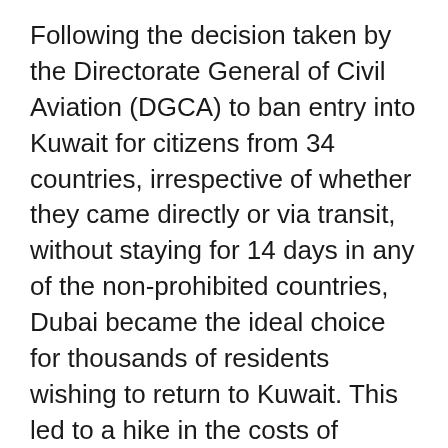Following the decision taken by the Directorate General of Civil Aviation (DGCA) to ban entry into Kuwait for citizens from 34 countries, irrespective of whether they came directly or via transit, without staying for 14 days in any of the non-prohibited countries, Dubai became the ideal choice for thousands of residents wishing to return to Kuwait. This led to a hike in the costs of tickets to about 14 times the usual amount. It has in turn negatively affected the plans of Kuwaiti citizens who wish to travel to Dubai for holidays as there are insufficient seats available to return and due to the increased ticket costs, reports Al-Qabas daily.
Perhaps what made Dubai the most popular among the Kuwaiti residents to be their stop